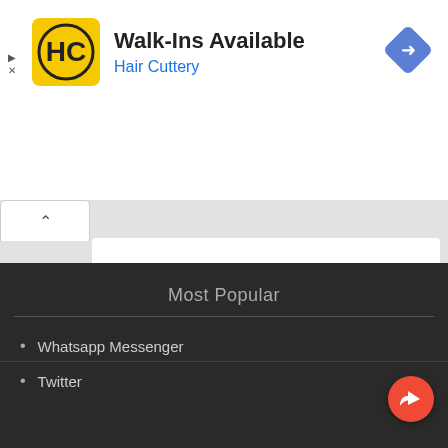[Figure (screenshot): Hair Cuttery advertisement banner with HC logo, Walk-Ins Available text, Hair Cuttery subtitle in blue, and a navigation diamond icon]
[Figure (screenshot): APK Downloader Chrome Web Store promotion banner with Chrome logo icon, green APK Downloader title, and Available in the Chrome Web Store text]
Most Popular
Whatsapp Messenger
Twitter